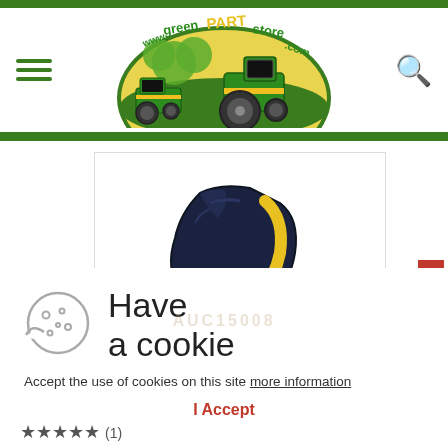[Figure (logo): www.greenPARTstore.com logo with tractors and green arch]
[Figure (photo): Product photo of a black and yellow tractor part (AUC15008)]
Have a cookie
Accept the use of cookies on this site more information
I Accept